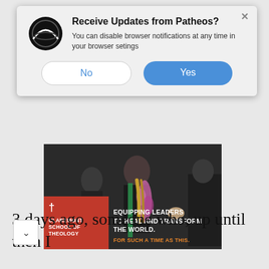[Figure (screenshot): Browser notification popup from Patheos with logo, title 'Receive Updates from Patheos?', body text about disabling notifications, and No/Yes buttons]
[Figure (photo): Advertisement for Claremont School of Theology showing graduation scene with red box overlay, text 'EQUIPPING LEADERS TO HEAL AND TRANSFORM THE WORLD.' and 'FOR SUCH A TIME AS THIS.']
3 days ago, someone who, up until then I